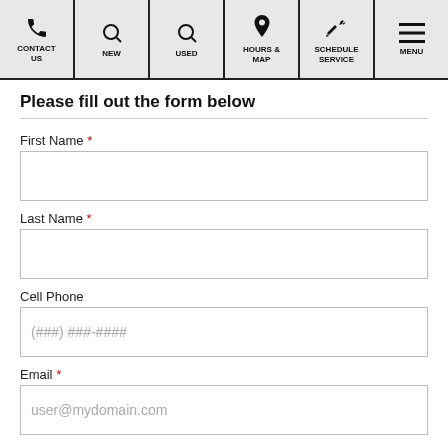CONTACT US | NEW | USED | HOURS & MAP | SCHEDULE SERVICE | MENU
Please fill out the form below
First Name *
Last Name *
Cell Phone
(###) ###-####
Email *
user@mydomain.com